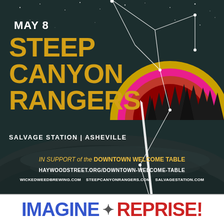[Figure (illustration): Concert poster for Steep Canyon Rangers at Salvage Station in Asheville on May 8. Dark night sky background with constellation lines, stars, shooting star, colorful sunset with concentric arcs in gold, pink/magenta, red, and dark tree silhouette. Foreground shows canoe/water reflections. Text includes band name in gold letters, date in white, venue in white, and support information for Downtown Welcome Table.]
STEEP CANYON RANGERS
MAY 8
SALVAGE STATION | ASHEVILLE
IN SUPPORT of the DOWNTOWN WELCOME TABLE
HAYWOODSTREET.ORG/DOWNTOWN-WELCOME-TABLE
WICKEDWEEDBREWING.COM  STEEPCANYONRANGERS.COM  SALVAGESTATION.COM
IMAGINE    REPRISE!